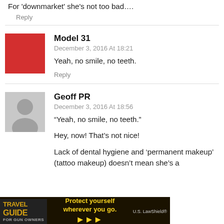For ‘downmarket’ she’s not too bad….
Reply
Model 31
December 3, 2016 At 18:21
Yeah, no smile, no teeth.
Reply
Geoff PR
December 3, 2016 At 18:56
“Yeah, no smile, no teeth.”
Hey, now! That’s not nice!
Lack of dental hygiene and ‘permanent makeup’ (tattoo makeup) doesn’t mean she’s a
[Figure (infographic): Travel Guide For Gun Owners advertisement banner with text 'Protect yourself wherever you go.' and arrows, with U.S. Law Shield logo]